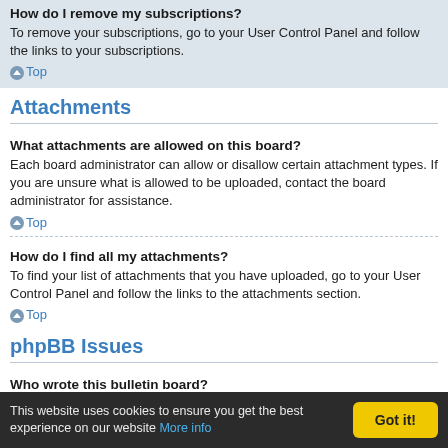How do I remove my subscriptions?
To remove your subscriptions, go to your User Control Panel and follow the links to your subscriptions.
Top
Attachments
What attachments are allowed on this board?
Each board administrator can allow or disallow certain attachment types. If you are unsure what is allowed to be uploaded, contact the board administrator for assistance.
Top
How do I find all my attachments?
To find your list of attachments that you have uploaded, go to your User Control Panel and follow the links to the attachments section.
Top
phpBB Issues
Who wrote this bulletin board?
This software (in its unmodified form) is produced, released and is copyright
This website uses cookies to ensure you get the best experience on our website More info